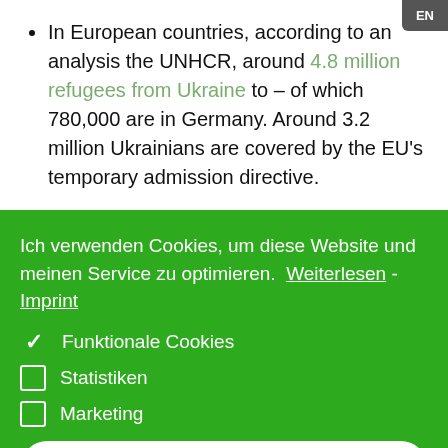In European countries, according to an analysis the UNHCR, around 4.8 million refugees from Ukraine to – of which 780,000 are in Germany. Around 3.2 million Ukrainians are covered by the EU's temporary admission directive.
Ich verwenden Cookies, um diese Website und meinen Service zu optimieren. Weiterlesen - Imprint
✓ Funktionale Cookies
☐ Statistiken
☐ Marketing
Einstellungen speichern
Putin does not want to address the Ukraine war or